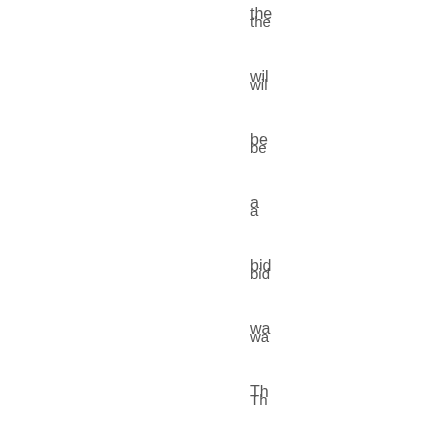the wil be a bid wa Th wil tur out to be cos Th bu; wh it